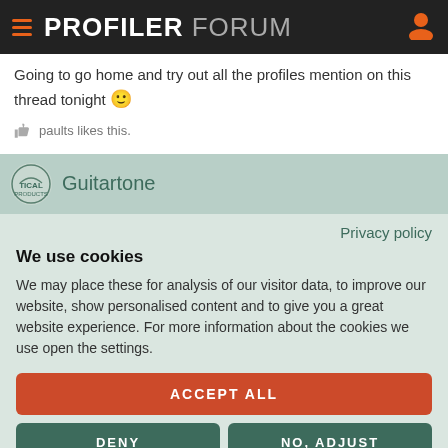PROFILER FORUM
Going to go home and try out all the profiles mention on this thread tonight 🙂
paults likes this.
Guitartone
Privacy policy
We use cookies
We may place these for analysis of our visitor data, to improve our website, show personalised content and to give you a great website experience. For more information about the cookies we use open the settings.
ACCEPT ALL
DENY
NO, ADJUST